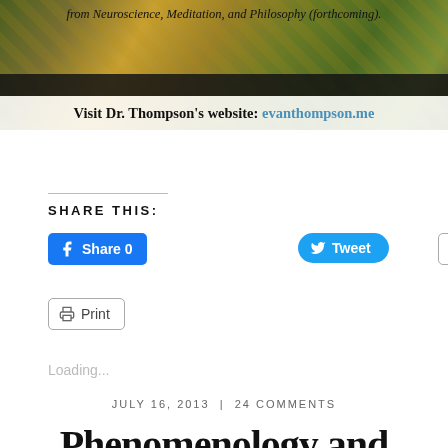[Figure (photo): Banner image with nature background (golden/green tones), italic text at top reading 'from Neuroscience, Meditation, and Philosophy (forthcoming).', a dark strip, and a white strip with text 'Visit Dr. Thompson's website: evanthompson.me']
SHARE THIS:
Share 0
Tweet
Email
Print
Loading...
JULY 16, 2013  |  24 COMMENTS
Phenomenology and